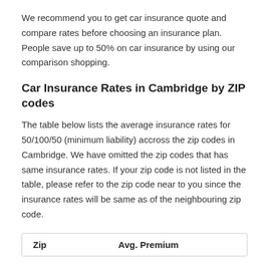We recommend you to get car insurance quote and compare rates before choosing an insurance plan. People save up to 50% on car insurance by using our comparison shopping.
Car Insurance Rates in Cambridge by ZIP codes
The table below lists the average insurance rates for 50/100/50 (minimum liability) accross the zip codes in Cambridge. We have omitted the zip codes that has same insurance rates. If your zip code is not listed in the table, please refer to the zip code near to you since the insurance rates will be same as of the neighbouring zip code.
| Zip | Avg. Premium |
| --- | --- |